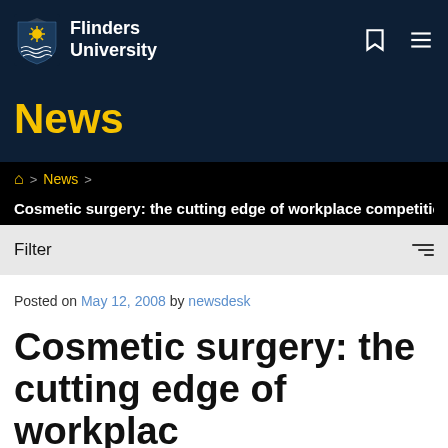[Figure (logo): Flinders University logo with shield and wordmark on dark navy background, with bookmark and hamburger menu icons]
News
Home > News > Cosmetic surgery: the cutting edge of workplace competition
Filter
Posted on May 12, 2008 by newsdesk
Cosmetic surgery: the cutting edge of workplace